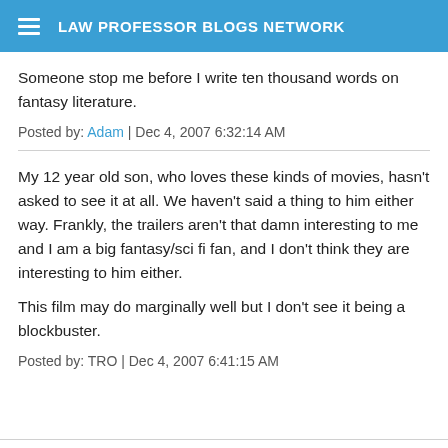LAW PROFESSOR BLOGS NETWORK
Someone stop me before I write ten thousand words on fantasy literature.
Posted by: Adam | Dec 4, 2007 6:32:14 AM
My 12 year old son, who loves these kinds of movies, hasn't asked to see it at all. We haven't said a thing to him either way. Frankly, the trailers aren't that damn interesting to me and I am a big fantasy/sci fi fan, and I don't think they are interesting to him either.

This film may do marginally well but I don't see it being a blockbuster.
Posted by: TRO | Dec 4, 2007 6:41:15 AM